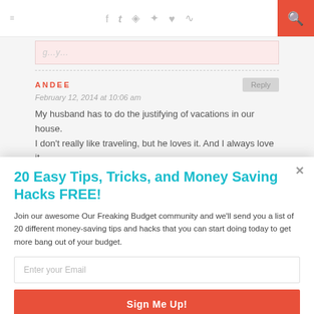≡ [social icons: f, twitter, instagram, pinterest, heart, rss] [search icon]
My husband has to do the justifying of vacations in our house. I don't really like traveling, but he loves it. And I always love it
ANDEE
February 12, 2014 at 10:06 am
20 Easy Tips, Tricks, and Money Saving Hacks FREE!
Join our awesome Our Freaking Budget community and we'll send you a list of 20 different money-saving tips and hacks that you can start doing today to get more bang out of your budget.
Enter your Email
Sign Me Up!